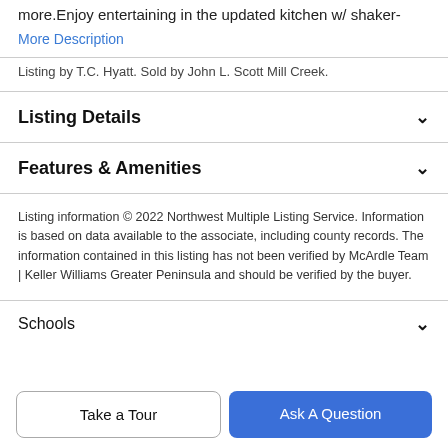more.Enjoy entertaining in the updated kitchen w/ shaker-
More Description
Listing by T.C. Hyatt. Sold by John L. Scott Mill Creek.
Listing Details
Features & Amenities
Listing information © 2022 Northwest Multiple Listing Service. Information is based on data available to the associate, including county records. The information contained in this listing has not been verified by McArdle Team | Keller Williams Greater Peninsula and should be verified by the buyer.
Schools
Take a Tour
Ask A Question